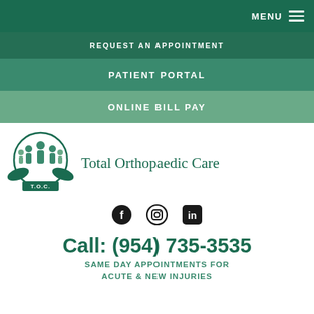MENU
REQUEST AN APPOINTMENT
PATIENT PORTAL
ONLINE BILL PAY
[Figure (logo): Total Orthopaedic Care logo with T.O.C. text and figures of people held in hands]
Total Orthopaedic Care
[Figure (infographic): Social media icons: Facebook, Instagram, LinkedIn]
Call: (954) 735-3535
SAME DAY APPOINTMENTS FOR ACUTE & NEW INJURIES